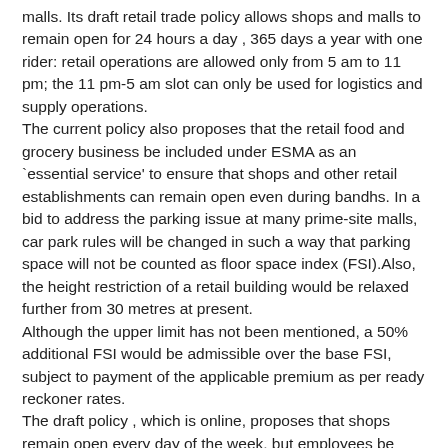malls. Its draft retail trade policy allows shops and malls to remain open for 24 hours a day , 365 days a year with one rider: retail operations are allowed only from 5 am to 11 pm; the 11 pm-5 am slot can only be used for logistics and supply operations.
The current policy also proposes that the retail food and grocery business be included under ESMA as an `essential service' to ensure that shops and other retail establishments can remain open even during bandhs. In a bid to address the parking issue at many prime-site malls, car park rules will be changed in such a way that parking space will not be counted as floor space index (FSI).Also, the height restriction of a retail building would be relaxed further from 30 metres at present.
Although the upper limit has not been mentioned, a 50% additional FSI would be admissible over the base FSI, subject to payment of the applicable premium as per ready reckoner rates.
The draft policy , which is online, proposes that shops remain open every day of the week, but employees be given a weekly off. The earlier version of the policy had permitted working hours from 8 am to 10 pm.